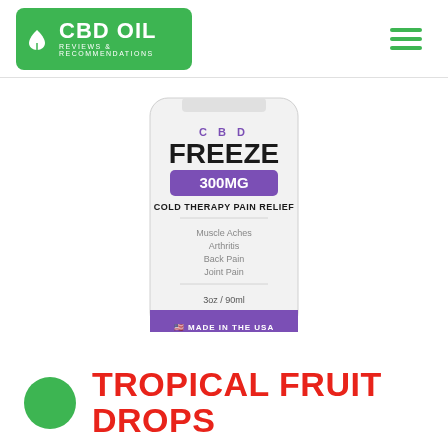CBD OIL REVIEWS & RECOMMENDATIONS
[Figure (photo): CBD Freeze 300MG Cold Therapy Pain Relief product bottle - white bottle with purple label. Text on bottle: CBD, FREEZE, 300MG, COLD THERAPY PAIN RELIEF, Muscle Aches, Arthritis, Back Pain, Joint Pain, 3oz / 90ml, MADE IN THE USA]
TROPICAL FRUIT DROPS